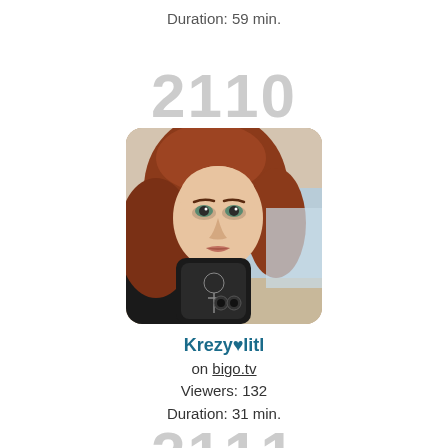Duration: 59 min.
2110
[Figure (photo): Profile photo of a young woman with red/auburn hair taking a mirror selfie, holding a phone with a dark case featuring a skeletal design. She is wearing a dark top and a necklace. The background shows a light-colored wall.]
Krezy♥litl
on bigo.tv
Viewers: 132
Duration: 31 min.
2111